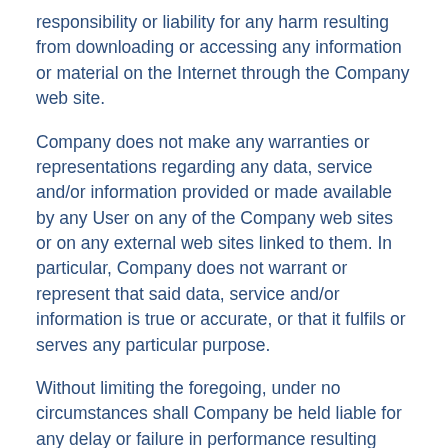responsibility or liability for any harm resulting from downloading or accessing any information or material on the Internet through the Company web site.
Company does not make any warranties or representations regarding any data, service and/or information provided or made available by any User on any of the Company web sites or on any external web sites linked to them. In particular, Company does not warrant or represent that said data, service and/or information is true or accurate, or that it fulfils or serves any particular purpose.
Without limiting the foregoing, under no circumstances shall Company be held liable for any delay or failure in performance resulting directly or indirectly from acts of nature, forces, or causes beyond its reasonable control, including, without limitation, Internet failures, computer equipment failures, telecommunication equipment failures, other equipment failures, electrical power failures, strikes, labour disputes, riots, insurrections, civil disturbances, shortages of labour or materials, fires, floods, storms, explosions, acts of God, war, governmental actions, orders of domestic or foreign